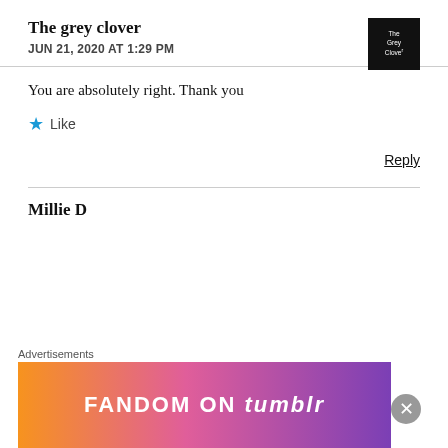The grey clover
JUN 21, 2020 AT 1:29 PM
You are absolutely right. Thank you
Like
Reply
Millie D...
Advertisements
[Figure (other): Fandom on Tumblr advertisement banner with colorful gradient background]